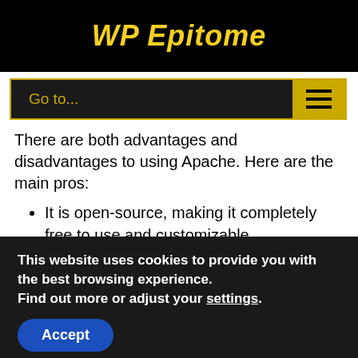WP Epitome
Go to...
There are both advantages and disadvantages to using Apache. Here are the main pros:
It is open-source, making it completely free to use and customizable.
The software is generally reliable, and has frequent patches to improve its performance and reduce security vulnerabilities.
This website uses cookies to provide you with the best browsing experience.
Find out more or adjust your settings.